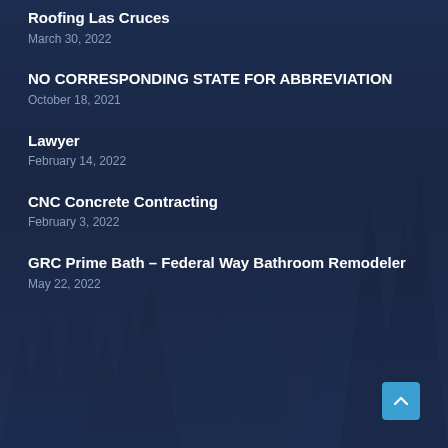Roofing Las Cruces
March 30, 2022
NO CORRESPONDING STATE FOR ABBREVIATION
October 18, 2021
Lawyer
February 14, 2022
CNC Concrete Contracting
February 3, 2022
GRC Prime Bath – Federal Way Bathroom Remodeler
May 22, 2022